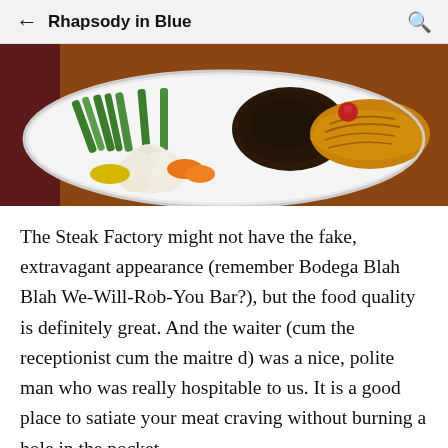← Rhapsody in Blue 🔍
[Figure (photo): A white plate of food featuring grilled vegetables including green beans, cauliflower, carrots, and a steak/meat patty with caramelized onions on top, served on a restaurant table with a dark red tablecloth visible in the background.]
The Steak Factory might not have the fake, extravagant appearance (remember Bodega Blah Blah We-Will-Rob-You Bar?), but the food quality is definitely great. And the waiter (cum the receptionist cum the maitre d) was a nice, polite man who was really hospitable to us. It is a good place to satiate your meat craving without burning a hole in the pocket.